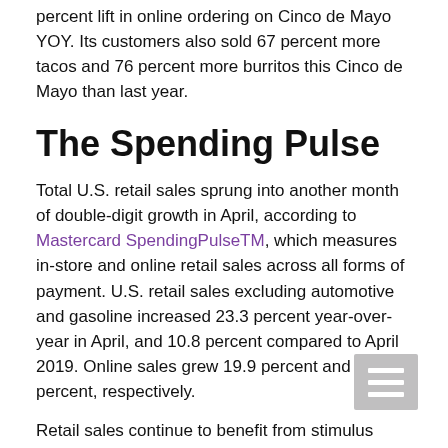percent lift in online ordering on Cinco de Mayo YOY. Its customers also sold 67 percent more tacos and 76 percent more burritos this Cinco de Mayo than last year.
The Spending Pulse
Total U.S. retail sales sprung into another month of double-digit growth in April, according to Mastercard SpendingPulseTM, which measures in-store and online retail sales across all forms of payment. U.S. retail sales excluding automotive and gasoline increased 23.3 percent year-over-year in April, and 10.8 percent compared to April 2019. Online sales grew 19.9 percent and 95.6 percent, respectively.
Retail sales continue to benefit from stimulus payments, coupled with warmer weather and broader...